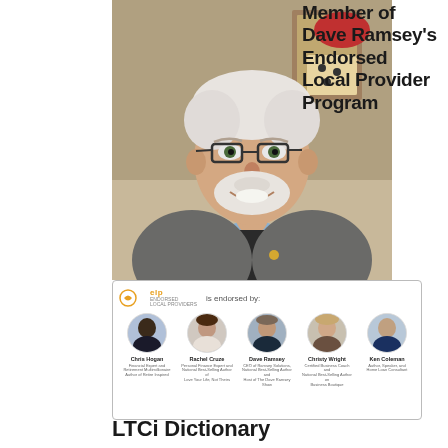[Figure (photo): Portrait photo of an older man with white hair, glasses, white beard, wearing a grey blazer and black shirt with a lapel pin, smiling, indoor background]
Member of Dave Ramsey's Endorsed Local Provider Program
[Figure (screenshot): ELP (Endorsed Local Provider) panel showing 'elp is endorsed by:' with circular photos and names of Chris Hogan, Rachel Cruze, Dave Ramsey, Christy Wright, and Ken Coleman]
LTCi Dictionary